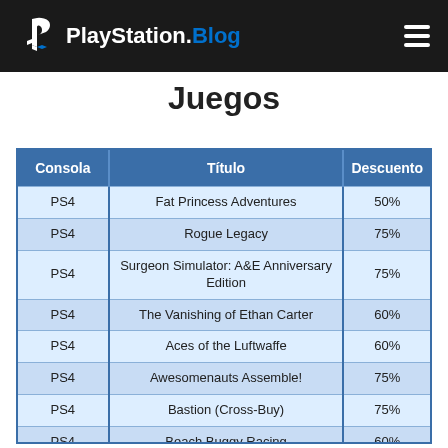PlayStation.Blog
Juegos
| Consola | Título | Descuento |
| --- | --- | --- |
| PS4 | Fat Princess Adventures | 50% |
| PS4 | Rogue Legacy | 75% |
| PS4 | Surgeon Simulator: A&E Anniversary Edition | 75% |
| PS4 | The Vanishing of Ethan Carter | 60% |
| PS4 | Aces of the Luftwaffe | 60% |
| PS4 | Awesomenauts Assemble! | 75% |
| PS4 | Bastion (Cross-Buy) | 75% |
| PS4 | Beach Buggy Racing | 60% |
| PS4 | Commander Cherry for PlayStation Camera | 60% |
| PS4 | Don't Starve: Console Edition | 75% |
| PS4 | Dragon Fin Soup | 60% |
| PS4 | Dreamals | 75% |